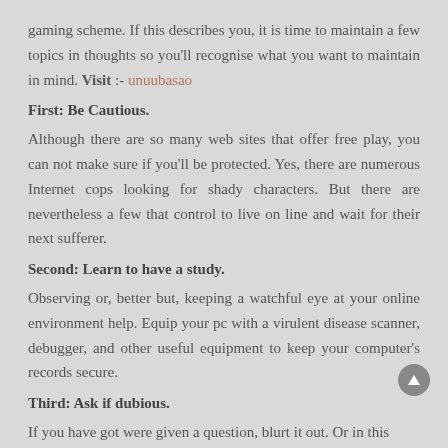gaming scheme. If this describes you, it is time to maintain a few topics in thoughts so you'll recognise what you want to maintain in mind. Visit :- unuubasao
First: Be Cautious.
Although there are so many web sites that offer free play, you can not make sure if you'll be protected. Yes, there are numerous Internet cops looking for shady characters. But there are nevertheless a few that control to live on line and wait for their next sufferer.
Second: Learn to have a study.
Observing or, better but, keeping a watchful eye at your online environment help. Equip your pc with a virulent disease scanner, debugger, and other useful equipment to keep your computer's records secure.
Third: Ask if dubious.
If you have got were given a question, blurt it out. Or in this